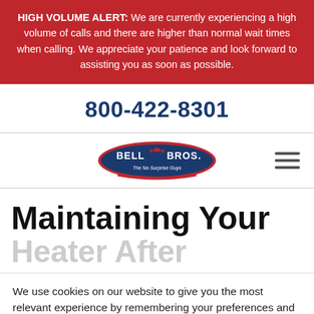HIGH VOLUME ALERT: We are currently experiencing a high volume of calls and there are higher than normal wait times when calling. We appreciate your patience and look forward to assisting you as soon as possible.
800-422-8301
[Figure (logo): Bell Bros. logo — oval shaped logo with red outline, blue interior, Bell Bros. text and tagline 'The No Surprise Guys']
Maintaining Your
Heater After
We use cookies on our website to give you the most relevant experience by remembering your preferences and repeat visits. By clicking "Accept", you consent to the use of ALL the cookies.
Cookie settings   ACCEPT